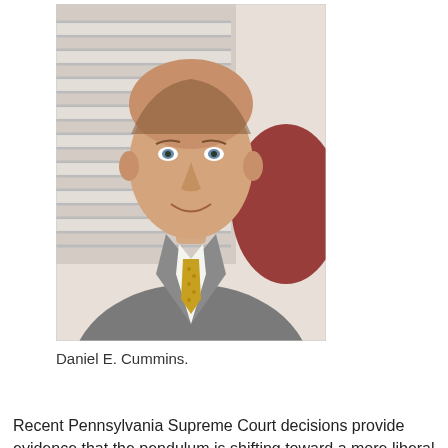[Figure (photo): Portrait photo of Daniel E. Cummins, a man in a grey suit with a gold/yellow tie, smiling, with window blinds and a dark red chair visible in the background.]
Daniel E. Cummins.
Recent Pennsylvania Supreme Court decisions provide evidence that the pendulum is shifting toward a more liberal